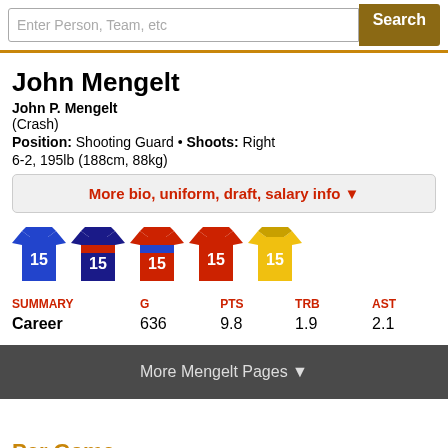John Mengelt
John P. Mengelt
(Crash)
Position: Shooting Guard • Shoots: Right
6-2, 195lb (188cm, 88kg)
More bio, uniform, draft, salary info ▼
[Figure (illustration): Five basketball jerseys all numbered 15, colored blue, dark-blue/red-striped, red-with-blue-stripe, red, and yellow]
| SUMMARY | G | PTS | TRB | AST |
| --- | --- | --- | --- | --- |
| Career | 636 | 9.8 | 1.9 | 2.1 |
More Mengelt Pages ▼
Per Game